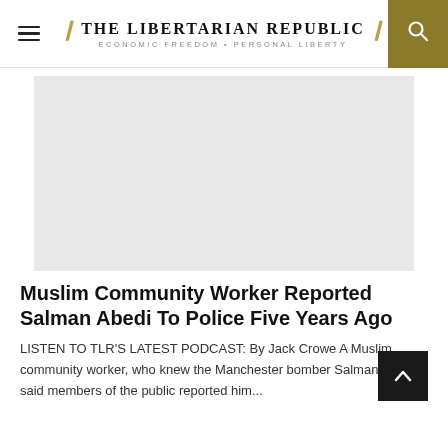THE LIBERTARIAN REPUBLIC — ECONOMIC FREEDOM + PERSONAL LIBERTY
[Figure (photo): Grey placeholder rectangle representing an article image]
Muslim Community Worker Reported Salman Abedi To Police Five Years Ago
LISTEN TO TLR'S LATEST PODCAST: By Jack Crowe A Muslim community worker, who knew the Manchester bomber Salman Abedi, said members of the public reported him...